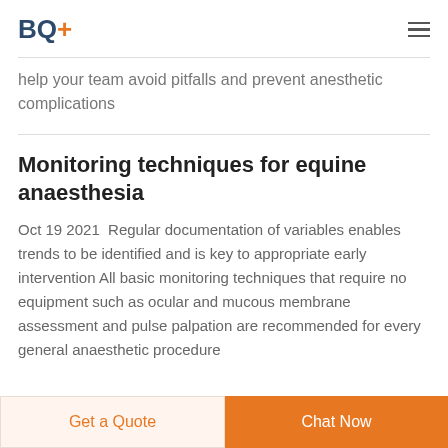BQ+
help your team avoid pitfalls and prevent anesthetic complications
Monitoring techniques for equine anaesthesia
Oct 19 2021  Regular documentation of variables enables trends to be identified and is key to appropriate early intervention All basic monitoring techniques that require no equipment such as ocular and mucous membrane assessment and pulse palpation are recommended for every general anaesthetic procedure
Get a Quote | Chat Now